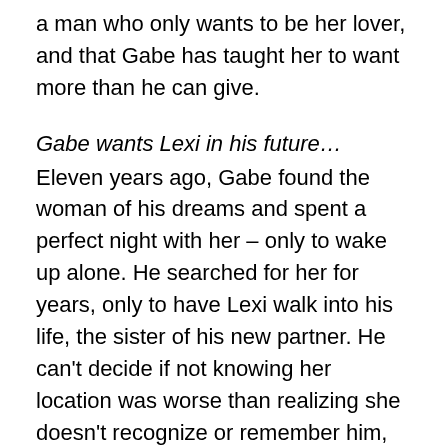a man who only wants to be her lover, and that Gabe has taught her to want more than he can give.
Gabe wants Lexi in his future… Eleven years ago, Gabe found the woman of his dreams and spent a perfect night with her – only to wake up alone. He searched for her for years, only to have Lexi walk into his life, the sister of his new partner. He can't decide if not knowing her location was worse than realizing she doesn't recognize or remember him, but Gabe is a man who trusts his instincts. He knows that he and Lexi belong together, just as he's aware that he has to help her heal from a secret wound. He hasn't dared to hope that Lexi will ever want more than their passionate nights together – when she decides to leave him, Gabe knows that the truth will either be the foundation of their future together or the fact that he kept it secret from her will drive them apart forever